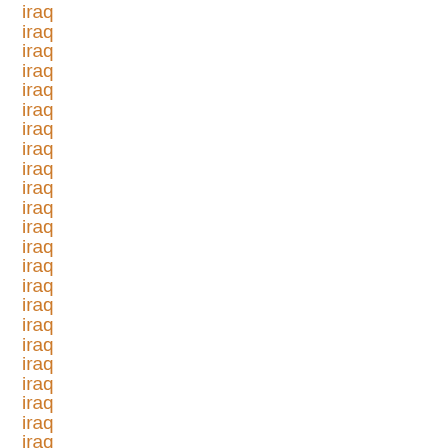iraq
iraq
iraq
iraq
iraq
iraq
iraq
iraq
iraq
iraq
iraq
iraq
iraq
iraq
iraq
iraq
iraq
iraq
iraq
iraq
iraq
iraq
iraq
iraq